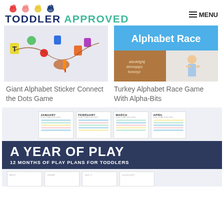[Figure (logo): Toddler Approved logo with colorful handprint icons and text 'TODDLER APPROVED']
[Figure (photo): Child using a marker on a colorful alphabet activity wall board - Giant Alphabet Sticker Connect the Dots Game]
[Figure (photo): Alphabet Race game with blue banner text, brown sensory bin and child standing - Turkey Alphabet Race Game With Alpha-Bits]
Giant Alphabet Sticker Connect the Dots Game
Turkey Alphabet Race Game With Alpha-Bits
[Figure (infographic): A Year of Play promotional banner showing monthly play plan cards for January, February, March, April with dark blue banner reading 'A YEAR OF PLAY - 12 MONTHS OF PLAY PLANS FOR TODDLERS']